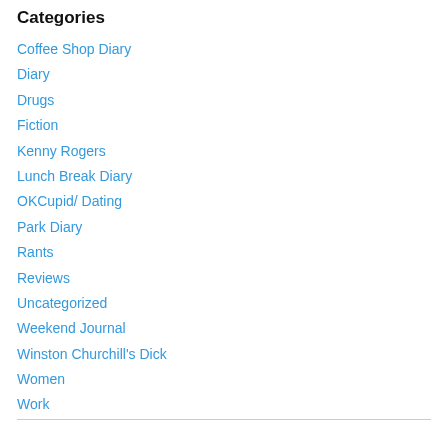Categories
Coffee Shop Diary
Diary
Drugs
Fiction
Kenny Rogers
Lunch Break Diary
OKCupid/ Dating
Park Diary
Rants
Reviews
Uncategorized
Weekend Journal
Winston Churchill's Dick
Women
Work